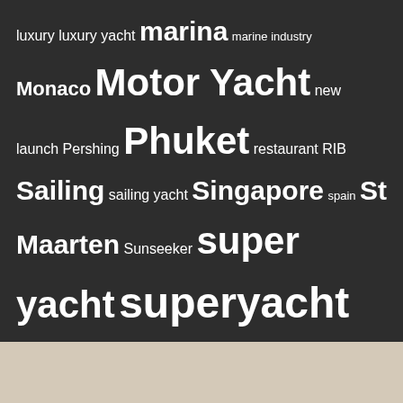luxury luxury yacht marina marine industry Monaco Motor Yacht new launch Pershing Phuket restaurant RIB Sailing sailing yacht Singapore spain St Maarten Sunseeker super yacht superyacht Superyacht charter Superyacht Tender Thailand Turkey watersports yacht Yacht Charter Yacht Crew yacht design yachting yacht management